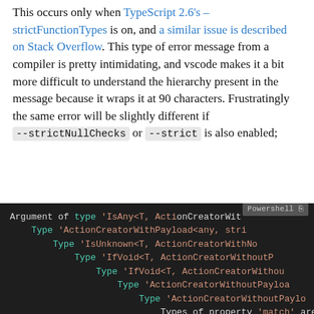This occurs only when TypeScript 2.6's –strictFunctionTypes is on, and a similar issue is described on Stack Overflow. This type of error message from a compiler is pretty intimidating, and vscode makes it a bit more difficult to understand the hierarchy present in the message because it wraps it at 90 characters. Frustratingly the same error will be slightly different if --strictNullChecks or --strict is also enabled;
[Figure (screenshot): Dark-themed code editor screenshot showing a TypeScript compiler error message with nested type hierarchy lines: 'Argument of type IsAny<T, ActionCreatorWit...', 'Type ActionCreatorWithPayload<any, stri...', 'Type IsUnknown<T, ActionCreatorWithNo...', 'Type IfVoid<T, ActionCreatorWithoutP...', 'Type IfVoid<T, ActionCreatorWithou...', 'Type ActionCreatorWithoutPayloa...', 'Type ActionCreatorWithoutPaylo...', 'Types of property match are...', 'Type (action: Action<unkno...', 'Type predicate action is...' with a 'Powershell' label overlay.]